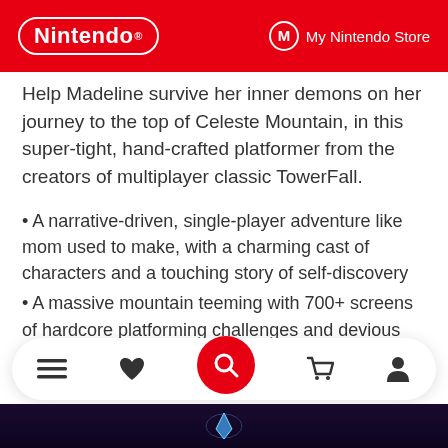Nintendo | My Nintendo Store
Help Madeline survive her inner demons on her journey to the top of Celeste Mountain, in this super-tight, hand-crafted platformer from the creators of multiplayer classic TowerFall.
A narrative-driven, single-player adventure like mom used to make, with a charming cast of characters and a touching story of self-discovery
A massive mountain teeming with 700+ screens of hardcore platforming challenges and devious secrets
Brutal B-side chapters to unlock, built for only the bravest mountaineers...
+ Read more
[Figure (screenshot): Dark game screenshot at bottom of page showing a glowing blue crystal/character]